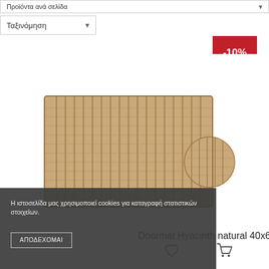Προϊόντα ανά σελίδα
Ταξινόμηση
[Figure (other): Red discount badge showing -10%]
[Figure (photo): Doormat Hyacinth natural 40x60 cm woven mat product image]
Doormat Hyacinth natural 40x60 cm
Η ιστοσελίδα μας χρησιμοποιεί cookies για καταγραφή στατιστικών στοιχείων.
ΑΠΟΔΕΧΟΜΑΙ